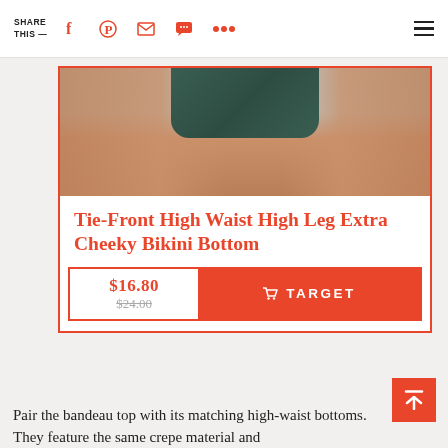SHARE THIS —
[Figure (photo): Product photo showing lower body wearing a dark green bikini bottom against a light blue background]
Tie-Front High Waist High Leg Extra Cheeky Bikini Bottom
$16.80  $24.00  TARGET
Pair the bandeau top with its matching high-waist bottoms. They feature the same crepe material and